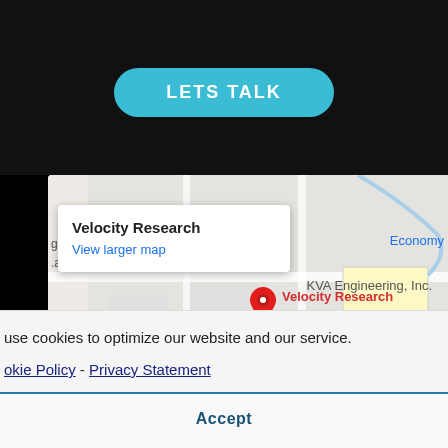[Figure (screenshot): A teal 'LETS TALK' button on a dark background at the top of the page]
[Figure (map): Google Maps embed showing Velocity Research location (marked as CLOSED), X-Rite Inc nearby, KVA Engineering Inc, and Economy label. A popup shows 'Velocity Research' with 'View larger map' link.]
use cookies to optimize our website and our service.
okie Policy  -  Privacy Statement
Accept